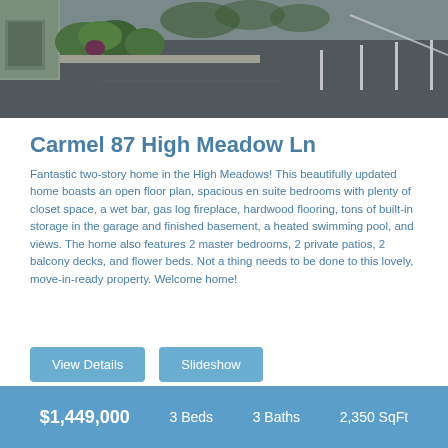[Figure (photo): Exterior photo of a parking lot/driveway area with green shrubs and building visible, asphalt surface with white parking lines]
Carmel 87 High Meadow Ln
Fantastic two-story home in the High Meadows! This beautifully updated home boasts an open floor plan, spacious en suite bedrooms with plenty of closet space, a wet bar, gas log fireplace, hardwood flooring, tons of built-in storage in the garage and finished basement, a heated swimming pool, and views. The home also features 2 master bedrooms, 2 private patios, 2 balcony decks, and flower beds. Not a thing needs to be done to this lovely, move-in-ready property. Welcome home!
View Details
Slideshow
$1,449,000   3 Beds   3 Baths   2,350 SqFt